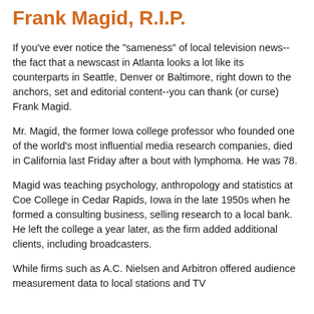Frank Magid, R.I.P.
If you've ever notice the "sameness" of local television news--the fact that a newscast in Atlanta looks a lot like its counterparts in Seattle, Denver or Baltimore, right down to the anchors, set and editorial content--you can thank (or curse) Frank Magid.
Mr. Magid, the former Iowa college professor who founded one of the world's most influential media research companies, died in California last Friday after a bout with lymphoma. He was 78.
Magid was teaching psychology, anthropology and statistics at Coe College in Cedar Rapids, Iowa in the late 1950s when he formed a consulting business, selling research to a local bank. He left the college a year later, as the firm added additional clients, including broadcasters.
While firms such as A.C. Nielsen and Arbitron offered audience measurement data to local stations and TV